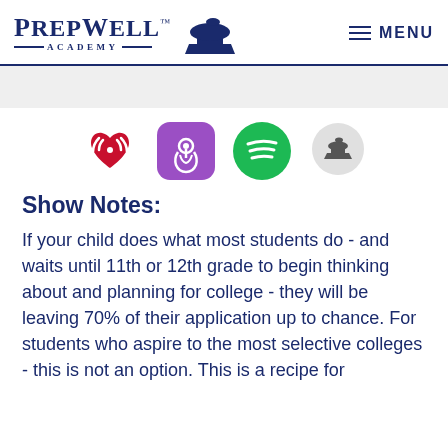[Figure (logo): PrepWell Academy logo with anvil graphic and MENU navigation]
[Figure (infographic): Row of four podcast/streaming platform icons: iHeartRadio (red), Apple Podcasts (purple), Spotify (green), PrepWell (gray speech bubble with anvil)]
Show Notes:
If your child does what most students do - and waits until 11th or 12th grade to begin thinking about and planning for college - they will be leaving 70% of their application up to chance. For students who aspire to the most selective colleges - this is not an option. This is a recipe for